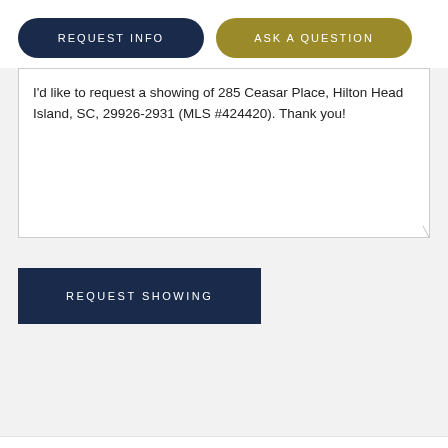REQUEST INFO
ASK A QUESTION
I'd like to request a showing of 285 Ceasar Place, Hilton Head Island, SC, 29926-2931 (MLS #424420). Thank you!
REQUEST SHOWING
PAYMENT CALCULATOR